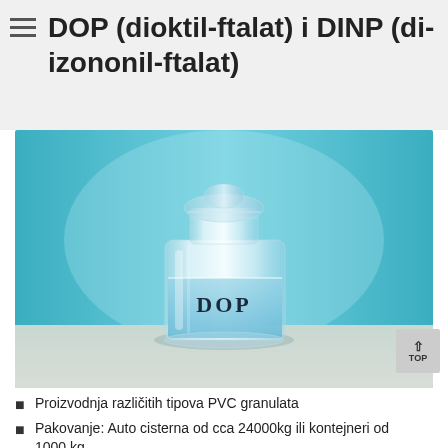DOP (dioktil-ftalat) i DINP (di-izononil-ftalat)
[Figure (photo): A glass jar/bottle labeled 'DOP' containing a clear liquid, photographed against a teal/blue gradient background with a grey base.]
Proizvodnja različitih tipova PVC granulata
Pakovanje: Auto cisterna od cca 24000kg ili kontejneri od 1000 kg.